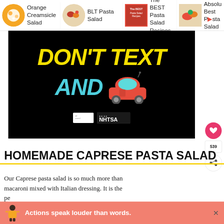[Figure (screenshot): Top navigation strip showing recipe thumbnails: Orange Creamsicle Salad, BLT Pasta Salad, The BEST Pasta Salad Recipes, The Absolute Best Pasta Salad Rec...]
[Figure (infographic): Public service announcement on black background: DON'T TEXT AND [car emoji] with Ad Council and NHTSA logos]
[Figure (infographic): Heart/like button (red), count 539, share button on right side]
HOMEMADE CAPRESE PASTA SALAD
Our Caprese pasta salad is so much more than macaroni mixed with Italian dressing. It is the pe...
[Figure (infographic): Bottom ad banner: person figure illustration with text 'Actions speak louder than words.' on salmon/orange background with close button]